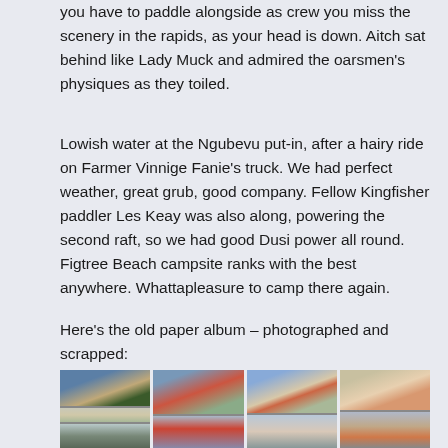you have to paddle alongside as crew you miss the scenery in the rapids, as your head is down. Aitch sat behind like Lady Muck and admired the oarsmen’s physiques as they toiled.
Lowish water at the Ngubevu put-in, after a hairy ride on Farmer Vinnige Fanie’s truck. We had perfect weather, great grub, good company. Fellow Kingfisher paddler Les Keay was also along, powering the second raft, so we had good Dusi power all round. Figtree Beach campsite ranks with the best anywhere. Whattapleasure to camp there again.
Here’s the old paper album – photographed and scrapped:
[Figure (photo): A collage strip of old scanned/photographed photos from a paper album, showing river rafting scenes, people on water, and camp scenes in vintage photo style.]